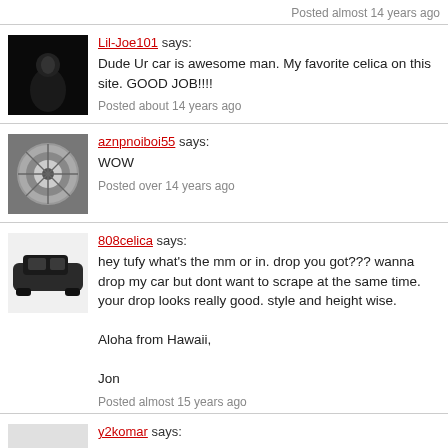Posted almost 14 years ago
Lil-Joe101 says:
Dude Ur car is awesome man. My favorite celica on this site. GOOD JOB!!!!
Posted about 14 years ago
aznpnoiboi55 says:
WOW
Posted over 14 years ago
808celica says:
hey tufy what's the mm or in. drop you got??? wanna drop my car but dont want to scrape at the same time. your drop looks really good. style and height wise.

Aloha from Hawaii,

Jon
Posted almost 15 years ago
y2komar says: